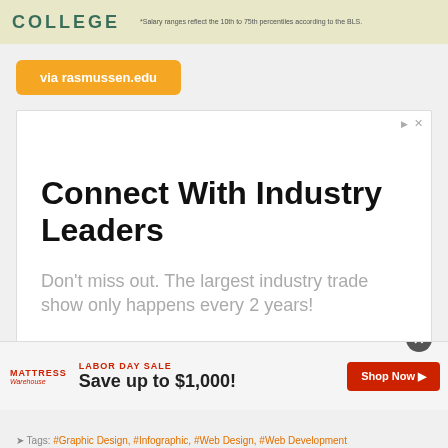COLLEGE — *Salary ranges reflect the 10th to 75th percentiles according to the BLS.
via rasmussen.edu
[Figure (infographic): Advertisement box with headline 'Connect With Industry Leaders' and subtext 'Don't miss out. The largest industry trade show only happens every 2 years!']
[Figure (infographic): Mattress Warehouse Labor Day Sale ad: 'LABOR DAY SALE — Save up to $1,000! — Shop Now']
Tags: #Graphic Design, #Infographic, #Web Design, #Web Development